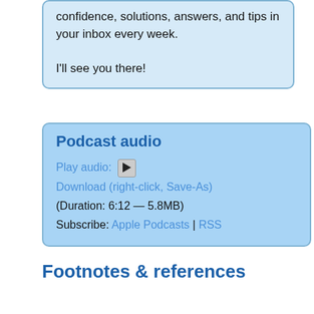confidence, solutions, answers, and tips in your inbox every week.

I'll see you there!
Podcast audio
Play audio: ▶
Download (right-click, Save-As)
(Duration: 6:12 — 5.8MB)
Subscribe: Apple Podcasts | RSS
Footnotes & references